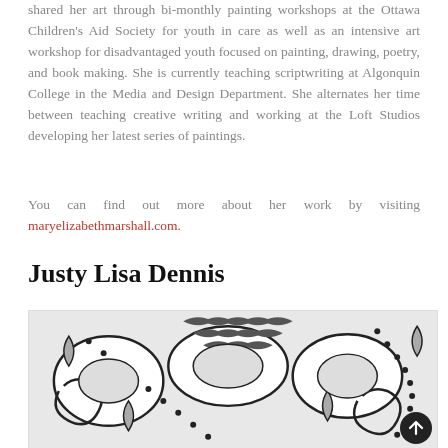shared her art through bi-monthly painting workshops at the Ottawa Children's Aid Society for youth in care as well as an intensive art workshop for disadvantaged youth focused on painting, drawing, poetry, and book making. She is currently teaching scriptwriting at Algonquin College in the Media and Design Department. She alternates her time between teaching creative writing and working at the Loft Studios developing her latest series of paintings.
You can find out more about her work by visiting maryelizabethmarshall.com.
Justy Lisa Dennis
[Figure (illustration): Black and white detailed pen illustration with organic swirling patterns, dots, scales, and teardrop shapes forming an abstract decorative composition.]